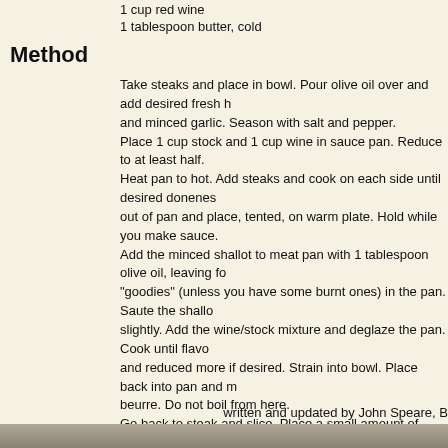1 cup red wine
1 tablespoon butter, cold
Method
Take steaks and place in bowl. Pour olive oil over and add desired fresh h and minced garlic. Season with salt and pepper.
Place 1 cup stock and 1 cup wine in sauce pan. Reduce to at least half.
Heat pan to hot. Add steaks and cook on each side until desired doneness. out of pan and place, tented, on warm plate. Hold while you make sauce.
Add the minced shallot to meat pan with 1 tablespoon olive oil, leaving fo "goodies" (unless you have some burnt ones) in the pan. Saute the shall slightly. Add the wine/stock mixture and deglaze the pan. Cook until flavo and reduced more if desired. Strain into bowl. Place back into pan and m beurre. Do not boil from here.
Go back to steak and slice. Place a small amount of sauce on warm plat with meat and drizzle with sauce.
Notes
Description:
"This is one way to make a delicious wine reduction sauce. If you want to do the same for chicken, choose a white wine and herbs and complete in the same manner."
SERVINGS: 4
SOURCE: Apple Charlotte
written and updated by John Speare, B